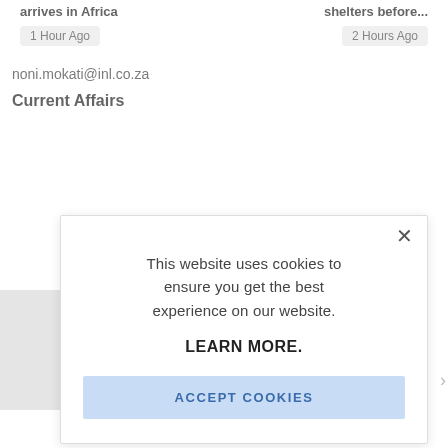arrives in Africa
shelters before...
1 Hour Ago
2 Hours Ago
noni.mokati@inl.co.za
Current Affairs
[Figure (screenshot): Cookie consent modal dialog on a news website. Contains text: 'This website uses cookies to ensure you get the best experience on our website.' followed by 'LEARN MORE.' and an 'ACCEPT COOKIES' button. A close (X) button is in the top right corner.]